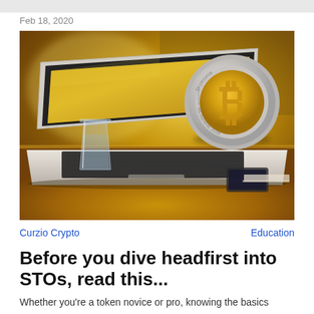Feb 18, 2020
[Figure (photo): A MacBook laptop with a large Bitcoin coin displayed on the screen, sitting on a wooden table with a glass of water and a smartphone nearby. Golden warm tones throughout.]
Curzio Crypto
Education
Before you dive headfirst into STOs, read this...
Whether you're a token novice or pro, knowing the basics will make you a stronger investor.